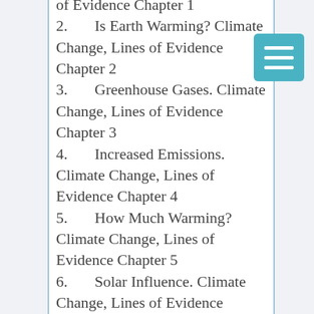of Evidence Chapter 1
2.     Is Earth Warming? Climate Change, Lines of Evidence Chapter 2
3.     Greenhouse Gases. Climate Change, Lines of Evidence Chapter 3
4.     Increased Emissions. Climate Change, Lines of Evidence Chapter 4
5.     How Much Warming? Climate Change, Lines of Evidence Chapter 5
6.     Solar Influence. Climate Change, Lines of Evidence Chapter 6
7.     Natural Cycles. Climate Change, Lines of...